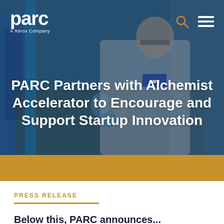[Figure (photo): A scientist or lab worker in a white coat and blue gloves working at a laboratory bench with equipment, viewed from behind/side. Overlaid with a blue-teal tint. PARC logo visible on lab coat.]
PARC Partners with Alchemist Accelerator to Encourage and Support Startup Innovation
PRESS RELEASE
Below this, PARC announces...